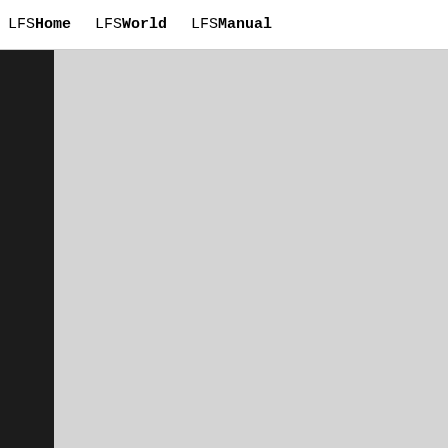LFSHome   LFSWorld   LFSManual
Q: Could somebody explain the
A: The lower the stability nu
   Only racers which did more
   First lap time is excluded

   I use the following deviat
   calculation for one player

   stability = sqrt(sumN((Ave
   where:
   N - number of laps;
   AverageLapTime - Player's
   LapTimeN - Player's time o

Q: I made a stats for our 2h
   drive through.. it's an bu
A: It shows only not complete
   LFS, which sends only not

Q: Why it shows 0 pit stops t
A: Since there are no pit-rel
   to determine number of pit